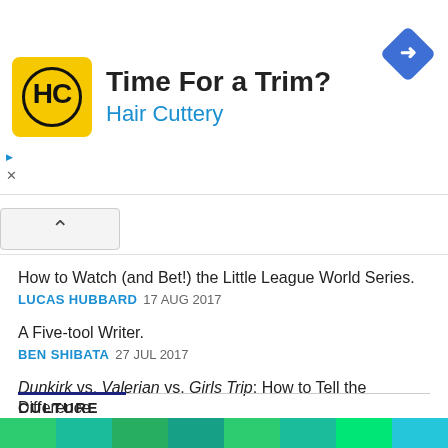[Figure (screenshot): Hair Cuttery advertisement banner with yellow HC logo, title 'Time For a Trim?' and blue subtitle 'Hair Cuttery', blue diamond navigation icon top right]
How to Watch (and Bet!) the Little League World Series.
LUCAS HUBBARD  17 AUG 2017
A Five-tool Writer.
BEN SHIBATA  27 JUL 2017
Dunkirk vs. Valerian vs. Girls Trip: How to Tell the Difference.
ERIC D. SNIDER  21 JUL 2017
Review: Costco's Baseball Ticket Deal.
BEN SHIBATA  07 JUL 2017
CULTURE
[Figure (other): Bottom green/teal color strip across the page]